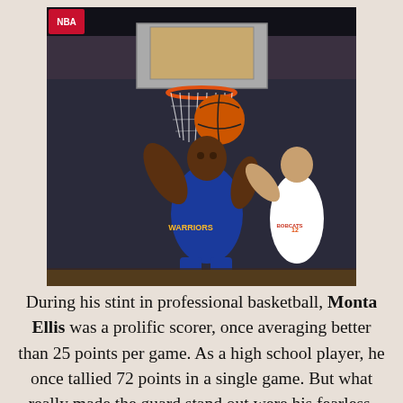[Figure (photo): Basketball player in a Golden State Warriors blue uniform driving to the basket with the ball raised, about to lay it up near the rim. A Charlotte Bobcats defender (number 12) attempts to block from behind. NBA arena setting with scoreboard visible at top.]
During his stint in professional basketball, Monta Ellis was a prolific scorer, once averaging better than 25 points per game. As a high school player, he once tallied 72 points in a single game. But what really made the guard stand out were his fearless, improbable, balletic